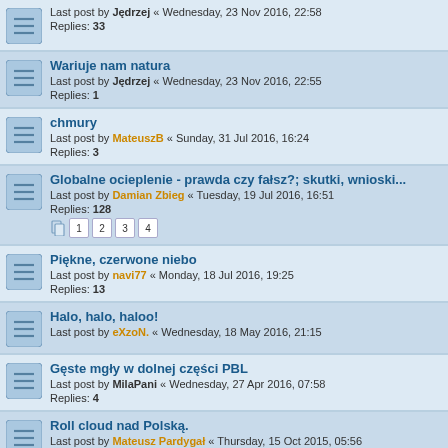Last post by Jędrzej « Wednesday, 23 Nov 2016, 22:58
Replies: 33
Wariuje nam natura
Last post by Jędrzej « Wednesday, 23 Nov 2016, 22:55
Replies: 1
chmury
Last post by MateuszB « Sunday, 31 Jul 2016, 16:24
Replies: 3
Globalne ocieplenie - prawda czy fałsz?; skutki, wnioski...
Last post by Damian Zbieg « Tuesday, 19 Jul 2016, 16:51
Replies: 128
Piękne, czerwone niebo
Last post by navi77 « Monday, 18 Jul 2016, 19:25
Replies: 13
Halo, halo, haloo!
Last post by eXzoN. « Wednesday, 18 May 2016, 21:15
Gęste mgły w dolnej części PBL
Last post by MilaPani « Wednesday, 27 Apr 2016, 07:58
Replies: 4
Roll cloud nad Polską.
Last post by Mateusz Pardygał « Thursday, 15 Oct 2015, 05:56
Replies: 6
Dziwne zjawisko w latach 80- tych
Last post by Jerzy Bohusz « Friday, 19 Dec 2014, 20:08
Replies: 27
Lodowiec
Last post by khushfehmi045 « Monday, 8 Dec 2014, 10:16
Replies: 14
Hole punch cloud / prześwit nagonadowy...